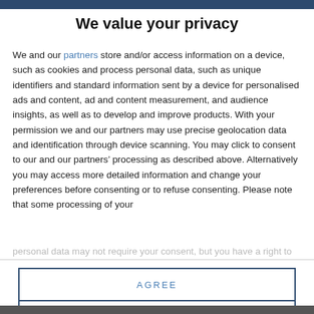We value your privacy
We and our partners store and/or access information on a device, such as cookies and process personal data, such as unique identifiers and standard information sent by a device for personalised ads and content, ad and content measurement, and audience insights, as well as to develop and improve products. With your permission we and our partners may use precise geolocation data and identification through device scanning. You may click to consent to our and our partners’ processing as described above. Alternatively you may access more detailed information and change your preferences before consenting or to refuse consenting. Please note that some processing of your personal data may not require your consent, but you have a right to
AGREE
MORE OPTIONS